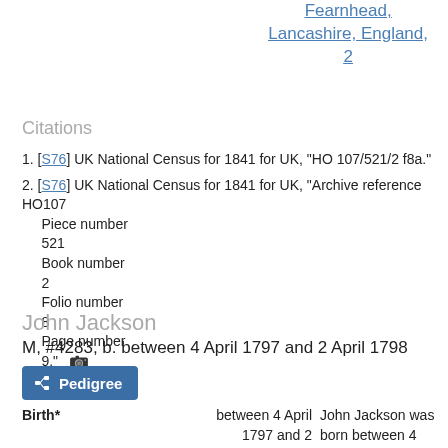Fearnhead, Lancashire, England, 2
Citations
[S76] UK National Census for 1841 for UK, "HO 107/521/2 f8a."
[S76] UK National Census for 1841 for UK, "Archive reference HO107
Piece number
521
Book number
2
Folio number
8
Page number
9."
John Jackson
M, #4283, b. between 4 April 1797 and 2 April 1798
Pedigree
Birth*	between 4 April 1797 and 2 April 1798	John Jackson was born between 4 April 1797 and 2 April 1798